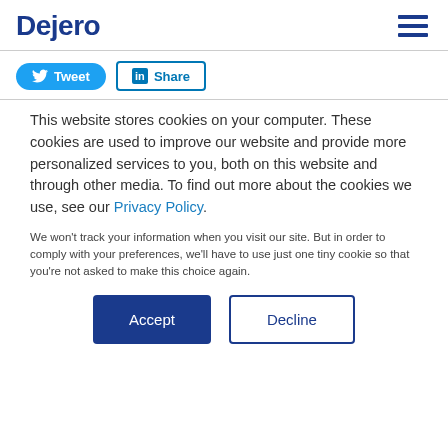Dejero
Tweet  Share
This website stores cookies on your computer. These cookies are used to improve our website and provide more personalized services to you, both on this website and through other media. To find out more about the cookies we use, see our Privacy Policy.
We won't track your information when you visit our site. But in order to comply with your preferences, we'll have to use just one tiny cookie so that you're not asked to make this choice again.
Accept  Decline